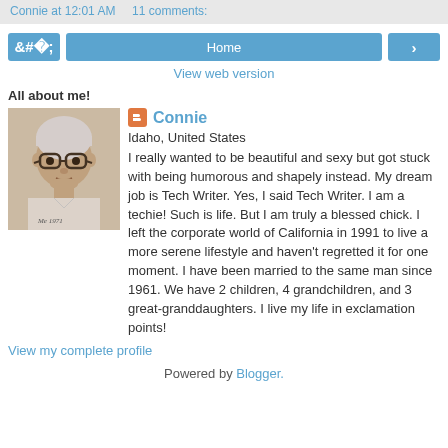Connie at 12:01 AM   11 comments:
Home navigation with previous and next buttons
View web version
All about me!
[Figure (photo): Black and white portrait photo of an older woman with glasses and short curly hair]
Connie — Idaho, United States — I really wanted to be beautiful and sexy but got stuck with being humorous and shapely instead. My dream job is Tech Writer. Yes, I said Tech Writer. I am a techie! Such is life. But I am truly a blessed chick. I left the corporate world of California in 1991 to live a more serene lifestyle and haven't regretted it for one moment. I have been married to the same man since 1961. We have 2 children, 4 grandchildren, and 3 great-granddaughters. I live my life in exclamation points!
View my complete profile
Powered by Blogger.